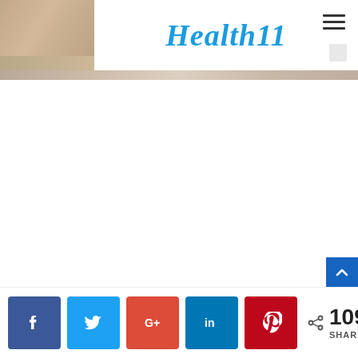[Figure (screenshot): Website header screenshot showing Health11 logo in blue italic font, a hamburger menu icon in the top right, a partial header image on the left, and a banner image across the top]
Health11
[Figure (photo): Partial header banner image with beige/tan tones]
109 SHARES
[Figure (infographic): Social sharing bar with Facebook, Twitter, Google+, LinkedIn, and Pinterest buttons, plus a share count showing 109 SHARES]